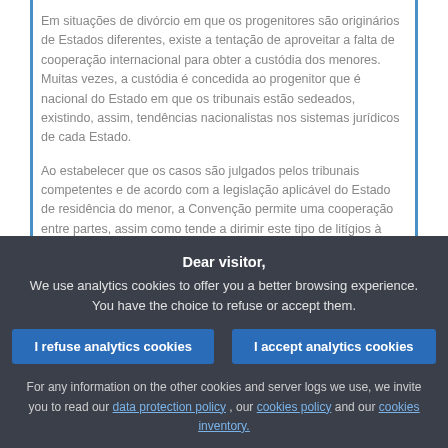Em situações de divórcio em que os progenitores são originários de Estados diferentes, existe a tentação de aproveitar a falta de cooperação internacional para obter a custódia dos menores. Muitas vezes, a custódia é concedida ao progenitor que é nacional do Estado em que os tribunais estão sedeados, existindo, assim, tendências nacionalistas nos sistemas jurídicos de cada Estado.
Ao estabelecer que os casos são julgados pelos tribunais competentes e de acordo com a legislação aplicável do Estado de residência do menor, a Convenção permite uma cooperação entre partes, assim como tende a dirimir este tipo de litígios à escala internacional.
Importa referir que a Comissão, juntamente com peritos no domínio da justiça social, avaliou e aprovou...
Dear visitor,
We use analytics cookies to offer you a better browsing experience. You have the choice to refuse or accept them.
I refuse analytics cookies
I accept analytics cookies
For any information on the other cookies and server logs we use, we invite you to read our data protection policy , our cookies policy and our cookies inventory.